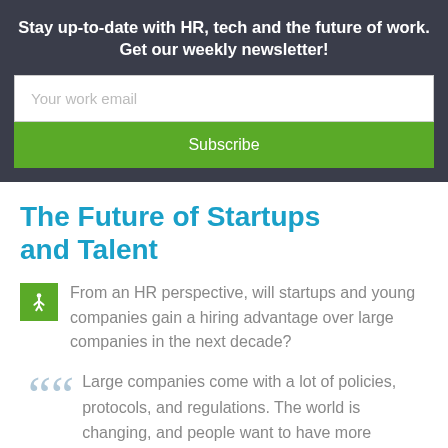Stay up-to-date with HR, tech and the future of work. Get our weekly newsletter!
Your work email
Subscribe
The Future of Startups and Talent
From an HR perspective, will startups and young companies gain a hiring advantage over large companies in the next decade?
Large companies come with a lot of policies, protocols, and regulations. The world is changing, and people want to have more flexibility. I think startups will be popular because there is just a ton of